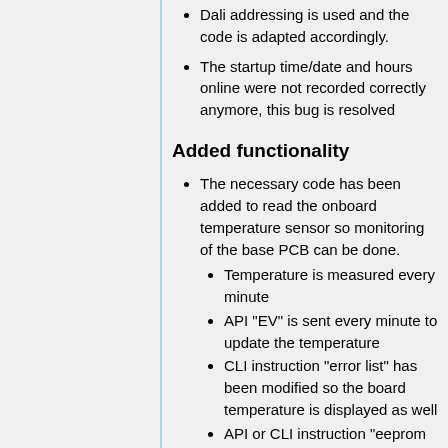Dali addressing is used and the code is adapted accordingly.
The startup time/date and hours online were not recorded correctly anymore, this bug is resolved
Added functionality
The necessary code has been added to read the onboard temperature sensor so monitoring of the base PCB can be done.
Temperature is measured every minute
API "EV" is sent every minute to update the temperature
CLI instruction "error list" has been modified so the board temperature is displayed as well
API or CLI instruction "eeprom activate" will read the onboard